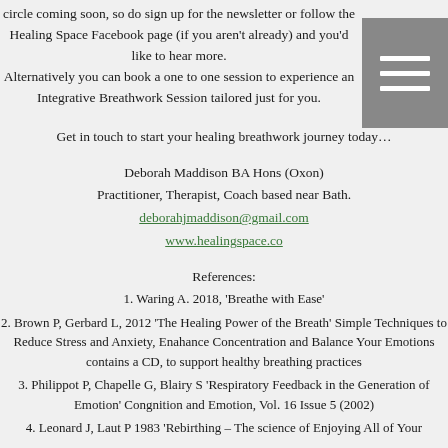circle coming soon, so do sign up for the newsletter or follow the Healing Space Facebook page (if you aren't already) and you'd like to hear more. Alternatively you can book a one to one session to experience an Integrative Breathwork Session tailored just for you.
Get in touch to start your healing breathwork journey today…
Deborah Maddison BA Hons (Oxon)
Practitioner, Therapist, Coach based near Bath.
deborahjmaddison@gmail.com
www.healingspace.co
References:
1. Waring A. 2018, 'Breathe with Ease'
2. Brown P, Gerbard L, 2012 'The Healing Power of the Breath' Simple Techniques to Reduce Stress and Anxiety, Enahance Concentration and Balance Your Emotions contains a CD, to support healthy breathing practices
3. Philippot P, Chapelle G, Blairy S 'Respiratory Feedback in the Generation of Emotion' Congnition and Emotion, Vol. 16 Issue 5 (2002)
4. Leonard J, Laut P 1983 'Rebirthing – The science of Enjoying All of Your